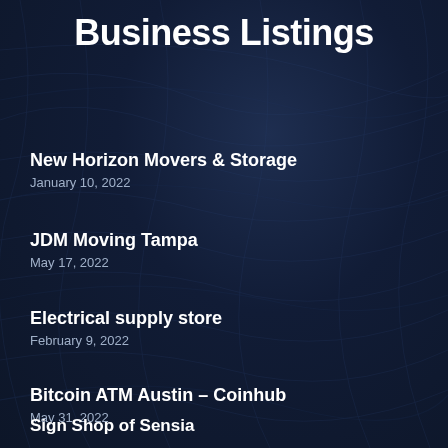Business Listings
New Horizon Movers & Storage
January 10, 2022
JDM Moving Tampa
May 17, 2022
Electrical supply store
February 9, 2022
Bitcoin ATM Austin – Coinhub
May 31, 2022
Sign Shop of Sensia